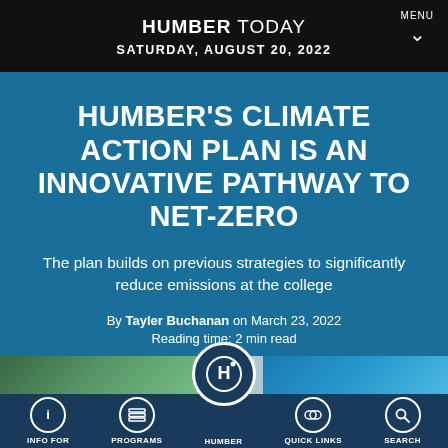HUMBER TODAY — SATURDAY, AUGUST 20, 2022
HUMBER'S CLIMATE ACTION PLAN IS AN INNOVATIVE PATHWAY TO NET-ZERO
The plan builds on previous strategies to significantly reduce emissions at the college
By Tayler Buchanan on March 23, 2022
Reading time: 2 min read
[Figure (logo): Humber college circular logo with stylized H and dot]
INFO FOR | PROGRAMS | HUMBER | QUICK LINKS | SEARCH